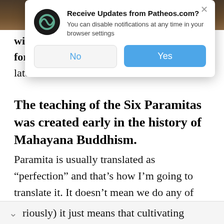[Figure (screenshot): Browser notification permission dialog from Patheos.com with No and Yes buttons, overlaid on a webpage]
wisdom, is something we will be saving for later.
The teaching of the Six Paramitas was created early in the history of Mahayana Buddhism.
Paramita is usually translated as “perfection” and that’s how I’m going to translate it. It doesn’t mean we do any of this perfectly (seriously) it just means that cultivating